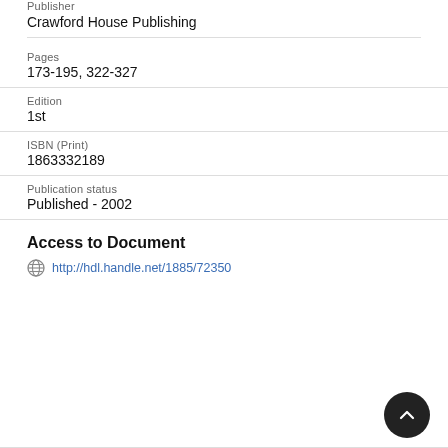Publisher
Crawford House Publishing
Pages
173-195, 322-327
Edition
1st
ISBN (Print)
1863332189
Publication status
Published - 2002
Access to Document
http://hdl.handle.net/1885/72350